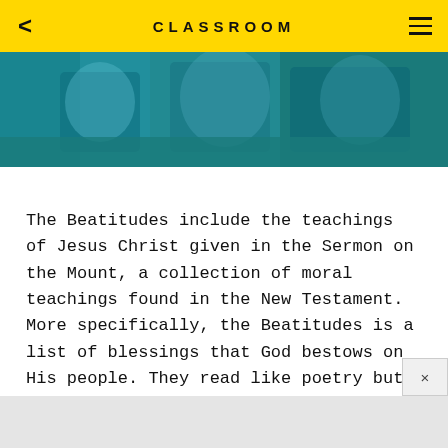CLASSROOM
[Figure (photo): Photograph of people with teal/blue toned overlay, cropped to a horizontal banner.]
The Beatitudes include the teachings of Jesus Christ given in the Sermon on the Mount, a collection of moral teachings found in the New Testament. More specifically, the Beatitudes is a list of blessings that God bestows on His people. They read like poetry but can be hard to decipher in contemporary language — we usually don't say 'pure in heart' or 'poor in spirit'. With simplicity and a little creativity